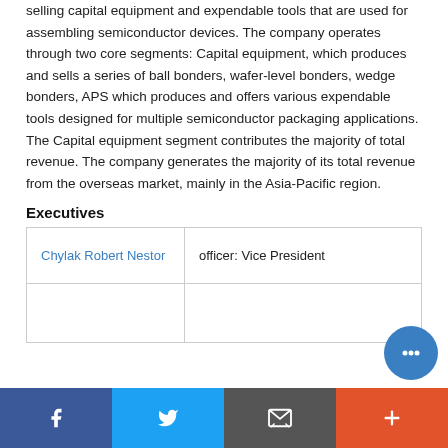selling capital equipment and expendable tools that are used for assembling semiconductor devices. The company operates through two core segments: Capital equipment, which produces and sells a series of ball bonders, wafer-level bonders, wedge bonders, APS which produces and offers various expendable tools designed for multiple semiconductor packaging applications. The Capital equipment segment contributes the majority of total revenue. The company generates the majority of its total revenue from the overseas market, mainly in the Asia-Pacific region.
Executives
| Chylak Robert Nestor | officer: Vice President |
|  |  |